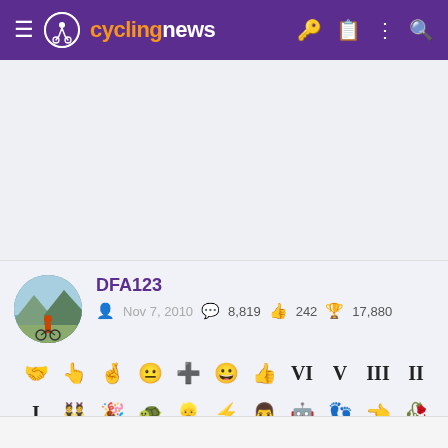cyclingnews
[Figure (screenshot): Empty advertisement/content area with light gray background]
DFA123 — Member since Nov 7, 2010 — 8,819 posts — 242 likes — 17,880 trophy points — user badges displayed